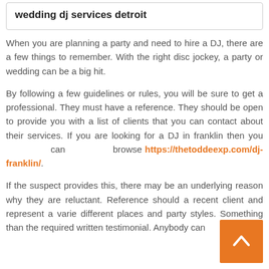wedding dj services detroit
When you are planning a party and need to hire a DJ, there are a few things to remember. With the right disc jockey, a party or wedding can be a big hit.
By following a few guidelines or rules, you will be sure to get a professional. They must have a reference. They should be open to provide you with a list of clients that you can contact about their services. If you are looking for a DJ in franklin then you can browse https://thetoddeexp.com/dj-franklin/.
If the suspect provides this, there may be an underlying reason why they are reluctant. Reference should a recent client and represent a varie different places and party styles. Something than the required written testimonial. Anybody can